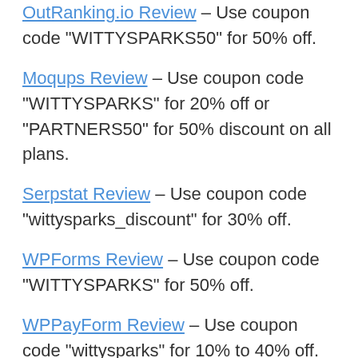OutRanking.io Review - Use coupon code "WITTYSPARKS50" for 50% off.
Moqups Review - Use coupon code "WITTYSPARKS" for 20% off or "PARTNERS50" for 50% discount on all plans.
Serpstat Review - Use coupon code "wittysparks_discount" for 30% off.
WPForms Review - Use coupon code "WITTYSPARKS" for 50% off.
WPPayForm Review - Use coupon code "wittysparks" for 10% to 40% off.
Affiliate Disclosure